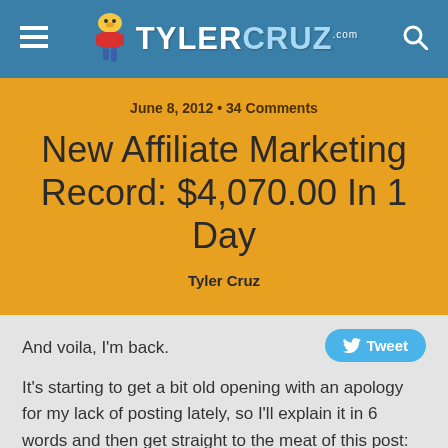≡  TYLERCRUZ.com  🔍
June 8, 2012 • 34 Comments
New Affiliate Marketing Record: $4,070.00 In 1 Day
Tyler Cruz
And voila, I'm back.
It's starting to get a bit old opening with an apology for my lack of posting lately, so I'll explain it in 6 words and then get straight to the meat of this post: I've been working on my campaigns.